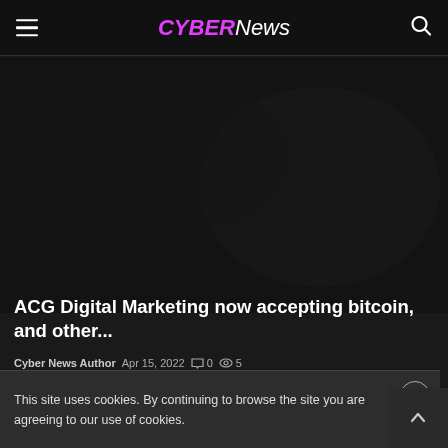CYBERNews
[Figure (photo): Dark hero image with dim background, appears to be a dark digital/tech themed photo]
ACG Digital Marketing now accepting bitcoin, and other...
Cyber News Author  Apr 15, 2022  0  5
[Figure (photo): Second article thumbnail image, broken image placeholder visible]
This site uses cookies. By continuing to browse the site you are agreeing to our use of cookies.